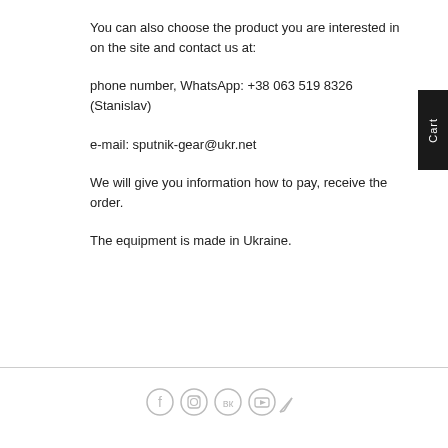You can also choose the product you are interested in on the site and contact us at:
phone number, WhatsApp: +38 063 519 8326 (Stanislav)
e-mail: sputnik-gear@ukr.net
We will give you information how to pay, receive the order.
The equipment is made in Ukraine.
[Figure (other): Social media icons: Facebook, Instagram, VK, YouTube, and a pen/edit icon in gray]